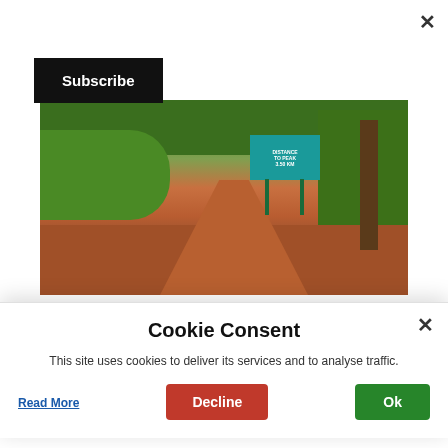×
Subscribe
[Figure (photo): A forest trail with red dirt path, dense green foliage on sides, and a teal information board on a post with tree trunks visible in the background]
At the point of 3.50km more to peak there's a board mentioning so and then there's a board every half km. Its kinda nice to know how much more to go and how much is done as it helped me to mentally prepare myself!
Cookie Consent
This site uses cookies to deliver its services and to analyse traffic.
Read More
Decline
Ok